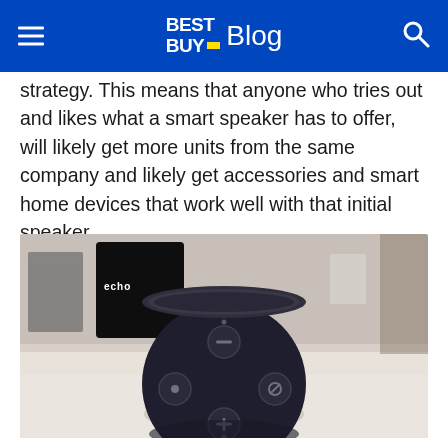BEST BUY Blog
strategy. This means that anyone who tries out and likes what a smart speaker has to offer, will likely get more units from the same company and likely get accessories and smart home devices that work well with that initial speaker.
[Figure (photo): Amazon Echo (3rd generation) smart speaker photographed from above on a white table surface, showing the top controls including volume up/down, action, and microphone mute buttons. An Echo box is visible in the background.]